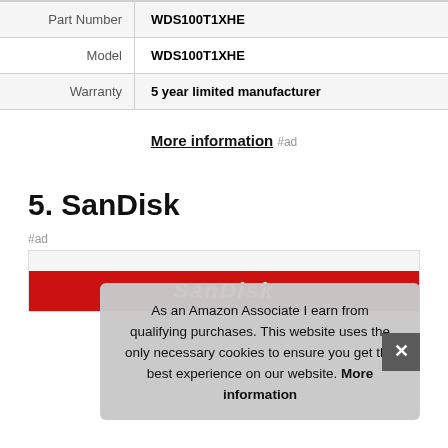| Part Number | WDS100T1XHE |
| Model | WDS100T1XHE |
| Warranty | 5 year limited manufacturer |
More information #ad
5. SanDisk
#ad
[Figure (photo): SanDisk product image with red background and white italic SanDisk logo text]
As an Amazon Associate I earn from qualifying purchases. This website uses the only necessary cookies to ensure you get the best experience on our website. More information